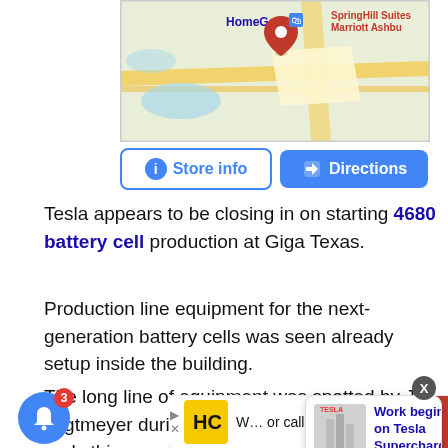[Figure (screenshot): Google Maps screenshot showing a location pin near HomeGoods, with SpringHill Suites Marriott Ashbu visible at top right]
[Figure (screenshot): Store info and Directions buttons from Google Maps UI]
Tesla appears to be closing in on starting 4680 battery cell production at Giga Texas.
Production line equipment for the next-generation battery cells was seen already setup inside the building.
The long line of equipment was spotted by Joe Tegtmeyer during a drone flyover of the factory early this morning.
[Figure (screenshot): Notification popup: Work begins on Tesla Supercharger in — 11 minutes ago]
[Figure (screenshot): Advertisement bar at bottom: HC hair salon ad, blue button and red section visible]